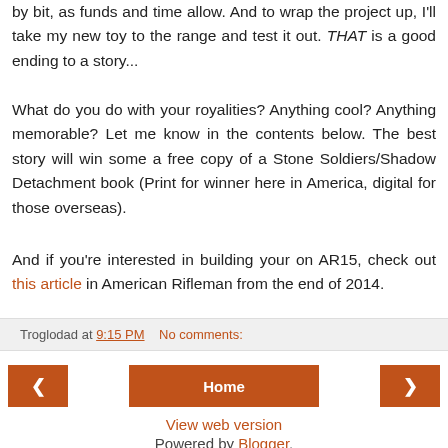by bit, as funds and time allow. And to wrap the project up, I'll take my new toy to the range and test it out. THAT is a good ending to a story...
What do you do with your royalities? Anything cool? Anything memorable? Let me know in the contents below. The best story will win some a free copy of a Stone Soldiers/Shadow Detachment book (Print for winner here in America, digital for those overseas).
And if you're interested in building your on AR15, check out this article in American Rifleman from the end of 2014.
Troglodad at 9:15 PM   No comments:
Home
View web version
Powered by Blogger.